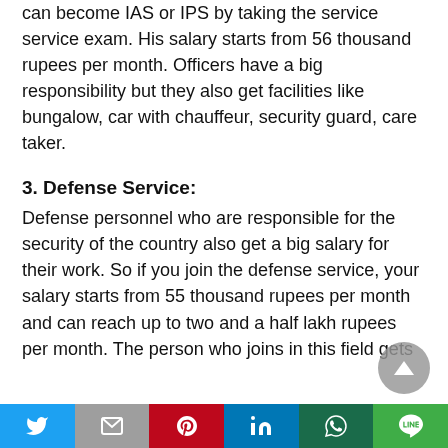can become IAS or IPS by taking the service service exam. His salary starts from 56 thousand rupees per month. Officers have a big responsibility but they also get facilities like bungalow, car with chauffeur, security guard, care taker.
3. Defense Service:
Defense personnel who are responsible for the security of the country also get a big salary for their work. So if you join the defense service, your salary starts from 55 thousand rupees per month and can reach up to two and a half lakh rupees per month. The person who joins in this field gets
Twitter | Mail | Pinterest | LinkedIn | WhatsApp | Line